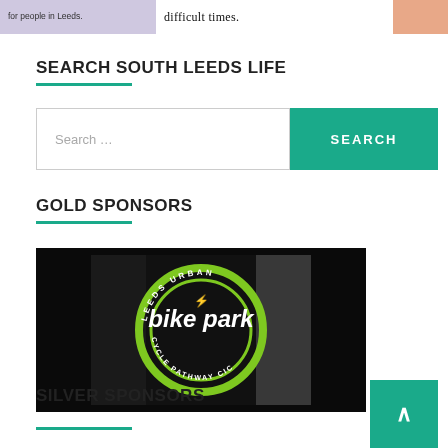[Figure (screenshot): Top banner with lavender background on left showing text 'for people in Leeds.', center white area with italic text 'difficult times.', and peach/salmon color block on right]
SEARCH SOUTH LEEDS LIFE
[Figure (screenshot): Search bar with placeholder text 'Search ...' and a teal SEARCH button]
GOLD SPONSORS
[Figure (logo): Leeds Urban Bike Park logo - circular green and black logo with text 'LEEDS URBAN bike park CYCLE PATHWAY CIC' on a black rectangular background]
SILVER SPONSORS